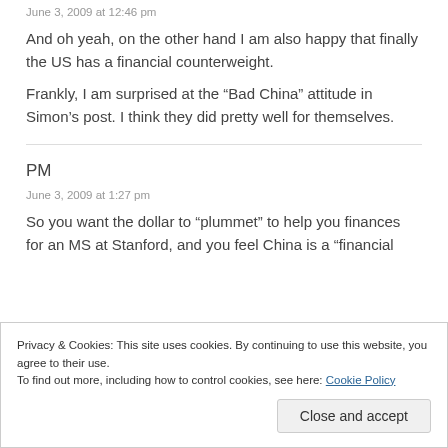June 3, 2009 at 12:46 pm
And oh yeah, on the other hand I am also happy that finally the US has a financial counterweight.
Frankly, I am surprised at the “Bad China” attitude in Simon’s post. I think they did pretty well for themselves.
PM
June 3, 2009 at 1:27 pm
So you want the dollar to “plummet” to help you finances for an MS at Stanford, and you feel China is a “financial
Privacy & Cookies: This site uses cookies. By continuing to use this website, you agree to their use.
To find out more, including how to control cookies, see here: Cookie Policy
Close and accept